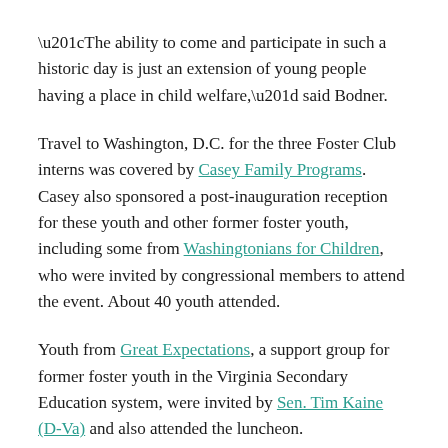“The ability to come and participate in such a historic day is just an extension of young people having a place in child welfare,” said Bodner.
Travel to Washington, D.C. for the three Foster Club interns was covered by Casey Family Programs. Casey also sponsored a post-inauguration reception for these youth and other former foster youth, including some from Washingtonians for Children, who were invited by congressional members to attend the event. About 40 youth attended.
Youth from Great Expectations, a support group for former foster youth in the Virginia Secondary Education system, were invited by Sen. Tim Kaine (D-Va) and also attended the luncheon.
“Our halls of government have an impact on so many